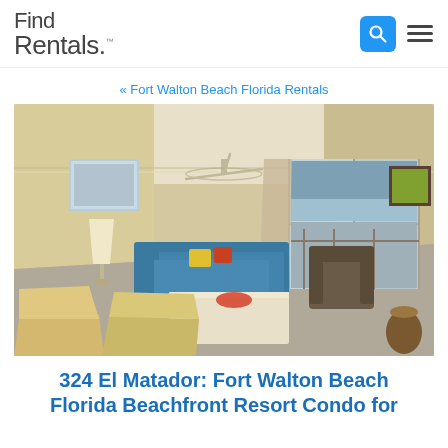Find Rentals.
« Fort Walton Beach Florida Rentals
[Figure (photo): Interior photo of a beachfront condo living room with teal sofa, armchairs, ceiling fan, coffee table, and sliding glass doors opening to a balcony with ocean view]
324 El Matador: Fort Walton Beach Florida Beachfront Resort Condo for